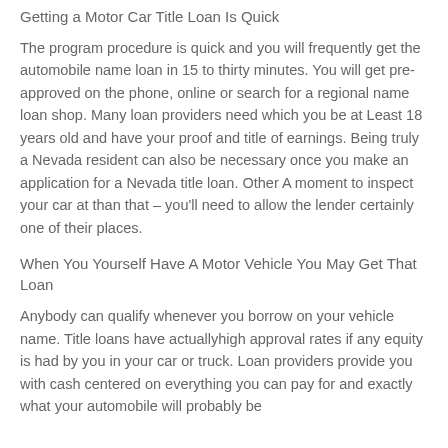Getting a Motor Car Title Loan Is Quick
The program procedure is quick and you will frequently get the automobile name loan in 15 to thirty minutes. You will get pre-approved on the phone, online or search for a regional name loan shop. Many loan providers need which you be at Least 18 years old and have your proof and title of earnings. Being truly a Nevada resident can also be necessary once you make an application for a Nevada title loan. Other A moment to inspect your car at than that – you'll need to allow the lender certainly one of their places.
When You Yourself Have A Motor Vehicle You May Get That Loan
Anybody can qualify whenever you borrow on your vehicle name. Title loans have actuallyhigh approval rates if any equity is had by you in your car or truck. Loan providers provide you with cash centered on everything you can pay for and exactly what your automobile will probably be